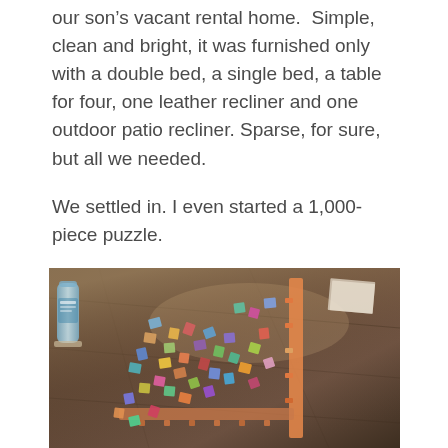our son's vacant rental home. Simple, clean and bright, it was furnished only with a double bed, a single bed, a table for four, one leather recliner and one outdoor patio recliner. Sparse, for sure, but all we needed.
We settled in. I even started a 1,000-piece puzzle.
[Figure (photo): A photo of a 1,000-piece jigsaw puzzle in progress on a dark wood table. The puzzle pieces are spread across the table, with the border pieces partially assembled along the right and bottom edges. A water bottle is visible on the left side.]